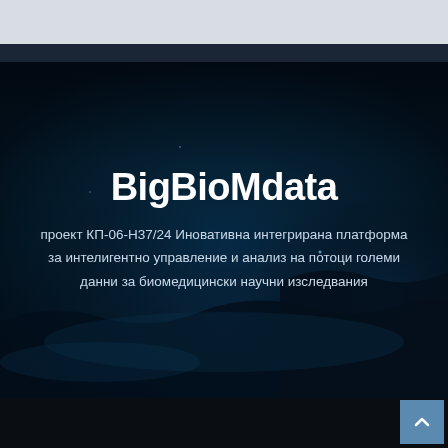[Figure (illustration): Dark blue atmospheric hero background with misty/foggy landscape texture and glowing light effects in deep navy and teal tones]
BigBioMdata
проект КП-06-Н37/24 Иновативна интегрирана платформа за интелигентно управление и анализ на потоци големи данни за биомедицински научни изследвания